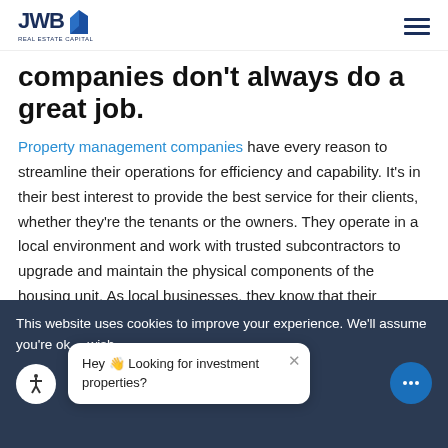JWB Real Estate Capital
companies don't always do a great job.
Property management companies have every reason to streamline their operations for efficiency and capability. It's in their best interest to provide the best service for their clients, whether they're the tenants or the owners. They operate in a local environment and work with trusted subcontractors to upgrade and maintain the physical components of the housing unit. As local businesses, they know that their reputations rest on delivering competent
This website uses cookies to improve your experience. We'll assume you're ok with this, but you can opt-out if you wish.
Hey 👋 Looking for investment properties?